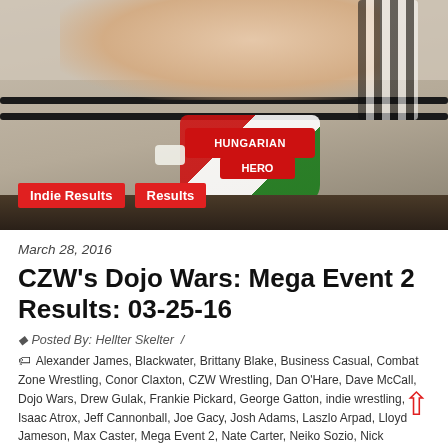[Figure (photo): Wrestling match photo showing a wrestler in red/white/green trunks labeled 'Hungarian Hero' near the ring ropes with a referee visible, at a Combat Zone Wrestling event]
Indie Results   Results
March 28, 2016
CZW's Dojo Wars: Mega Event 2 Results: 03-25-16
Posted By: Hellter Skelter  /
Alexander James, Blackwater, Brittany Blake, Business Casual, Combat Zone Wrestling, Conor Claxton, CZW Wrestling, Dan O'Hare, Dave McCall, Dojo Wars, Drew Gulak, Frankie Pickard, George Gatton, indie wrestling, Isaac Atrox, Jeff Cannonball, Joe Gacy, Josh Adams, Laszlo Arpad, Lloyd Jameson, Max Caster, Mega Event 2, Nate Carter, Neiko Sozio, Nick Comoroto, Penelope Ford, Preacher, Qefka The Quiet, Rayo, Rory Gulak, Shlak, Wheeler YUTA, wrestling news, wrestling results
Source: CZW - Combat Zone Wrestling presented Dojo Wars: Mega